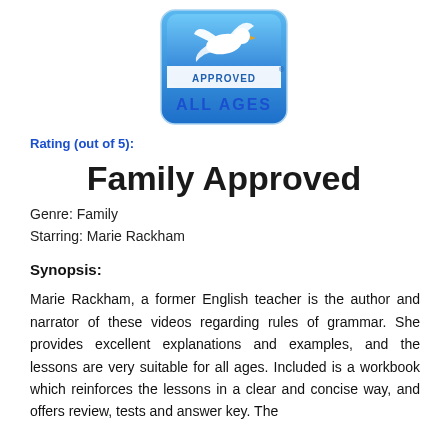[Figure (logo): Dove seal logo with blue rounded rectangle border, dove bird graphic, text 'APPROVED' in white banner, text 'ALL AGES' in blue below]
Rating (out of 5):
Family Approved
Genre: Family
Starring: Marie Rackham
Synopsis:
Marie Rackham, a former English teacher is the author and narrator of these videos regarding rules of grammar. She provides excellent explanations and examples, and the lessons are very suitable for all ages. Included is a workbook which reinforces the lessons in a clear and concise way, and offers review, tests and answer key. The